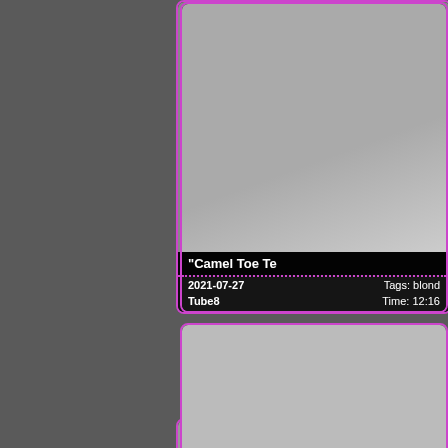[Figure (photo): Video thumbnail card 1 - partial view of adult video thumbnail, title: Camel Toe Te..., date: 2021-07-27, Tags: blond..., Source: Tube8, Time: 12:16]
[Figure (photo): Video thumbnail card 2 - adult video thumbnail showing blonde woman, title: Intense masturbat..., date: 2016-03-05, Tags: amate..., Source: RedTube, Time: 5:28]
[Figure (photo): Video thumbnail card 3 - partial adult video thumbnail showing blonde woman, partially cut off at bottom of page]